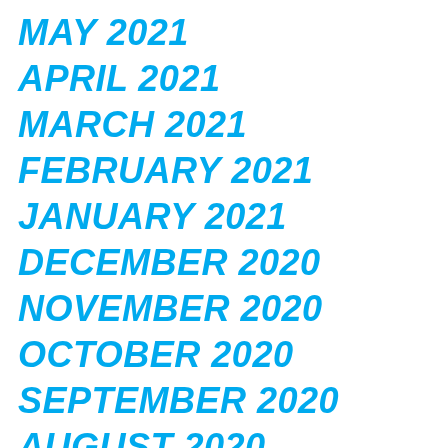MAY 2021
APRIL 2021
MARCH 2021
FEBRUARY 2021
JANUARY 2021
DECEMBER 2020
NOVEMBER 2020
OCTOBER 2020
SEPTEMBER 2020
AUGUST 2020